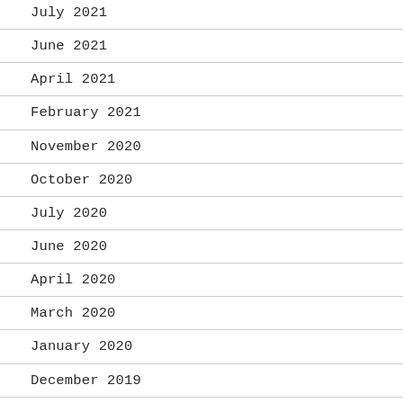July 2021
June 2021
April 2021
February 2021
November 2020
October 2020
July 2020
June 2020
April 2020
March 2020
January 2020
December 2019